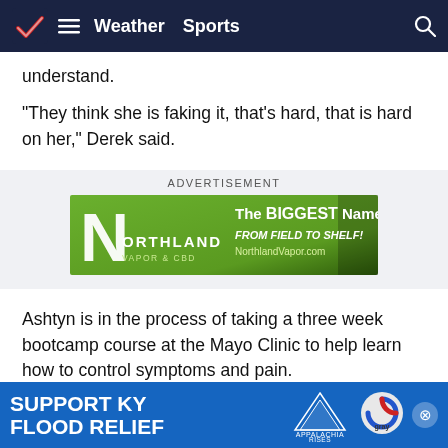Weather  Sports
understand.
"They think she is faking it, that's hard, that is hard on her," Derek said.
[Figure (other): Advertisement banner for Northland Vapor & CBD: 'The BIGGEST Name in CBD FROM FIELD TO SHELF! NorthlandVapor.com']
Ashtyn is in the process of taking a three week bootcamp course at the Mayo Clinic to help learn how to control symptoms and pain.
"I am hoping to get my life back and just get everything back to
[Figure (other): Bottom sticky advertisement: SUPPORT KY FLOOD RELIEF — Appalachia Rises — gray]